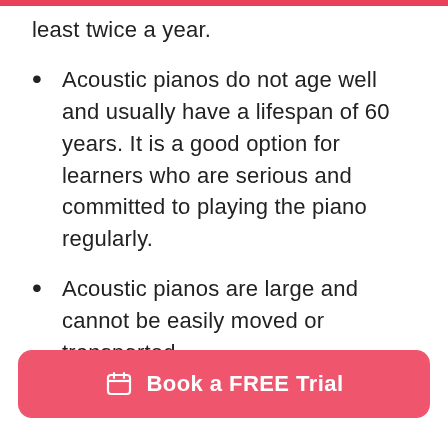least twice a year.
Acoustic pianos do not age well and usually have a lifespan of 60 years. It is a good option for learners who are serious and committed to playing the piano regularly.
Acoustic pianos are large and cannot be easily moved or transported.
Digital Piano
Book a FREE Trial